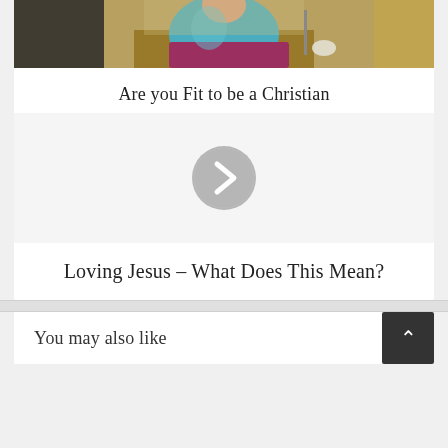[Figure (photo): Person in teal/blue jacket standing at a church pulpit or podium, photographed from the torso up in a church setting with warm wood tones]
Are you Fit to be a Christian
[Figure (other): Gray circular play/next button with a right-pointing chevron arrow, indicating a video player control]
Loving Jesus – What Does This Mean?
You may also like